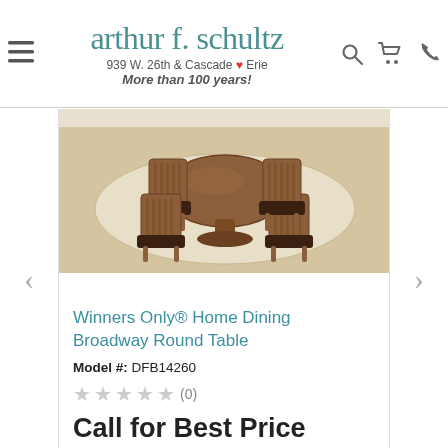arthur f. schultz | 939 W. 26th & Cascade ❤ Erie | More than 100 years!
[Figure (photo): Dining room set with a round wooden pedestal table surrounded by four wooden chairs with dark cushioned seats, placed on a light rug over hardwood flooring.]
Winners Only® Home Dining Broadway Round Table
Model #: DFB14260
★★★★★ (0)
Call for Best Price
ABSOLUTELY FREE DELIVERY
THROUGHOUT TRI STATE AREA